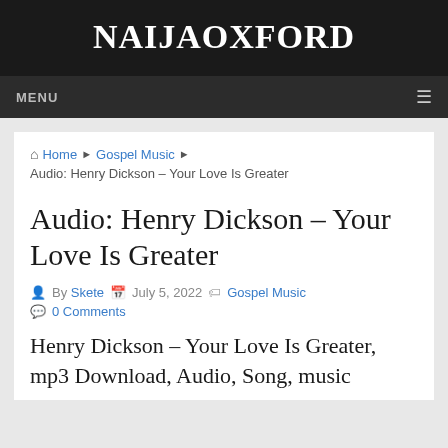NAIJAOXFORD
MENU
Home ▶ Gospel Music ▶ Audio: Henry Dickson – Your Love Is Greater
Audio: Henry Dickson – Your Love Is Greater
By Skete  July 5, 2022  Gospel Music  0 Comments
Henry Dickson – Your Love Is Greater, mp3 Download, Audio, Song, music